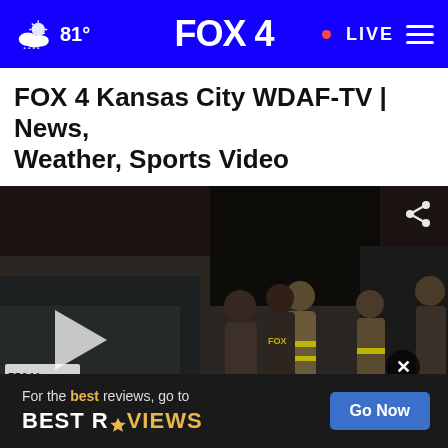81° FOX 4 • LIVE
FOX 4 Kansas City WDAF-TV | News, Weather, Sports Video
[Figure (screenshot): Video thumbnail showing firefighters and emergency personnel at a fire scene with a burned-out building. A vehicle with license plate 75041 is visible in the foreground. A play button overlay is present on the left side. A share icon is in the top-right corner and a close X button near the bottom-right.]
[Figure (infographic): Advertisement banner: 'For the best reviews, go to BESTREVIEWS' with a 'Go Now' blue button on the right.]